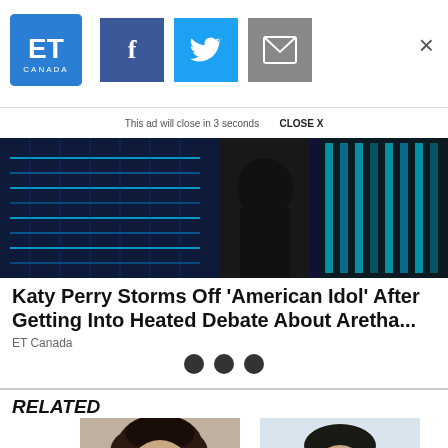[Figure (logo): ET Canada logo - blue square with ET and CANADA text]
[Figure (screenshot): Social share buttons: Facebook (blue), Twitter (light blue), Email (grey), and X close button]
This ad will close in 3 seconds   CLOSE X
[Figure (photo): Article thumbnail image showing neon blue lights and dark background related to American Idol]
Katy Perry Storms Off 'American Idol' After Getting Into Heated Debate About Aretha...
ET Canada
[Figure (other): Three dark circular dots indicating a loading or pagination indicator]
RELATED
[Figure (photo): Photo of a person with dark hair, cropped at top of frame]
[Figure (photo): Photo of a man with short dark hair against light background]